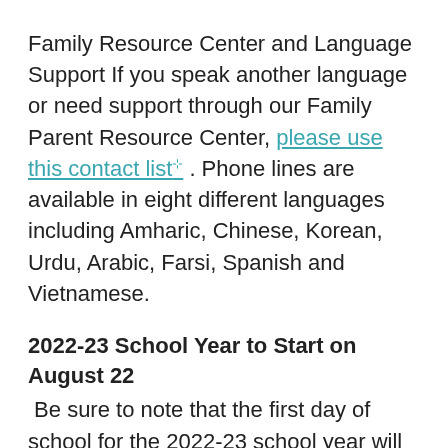Family Resource Center and Language Support If you speak another language or need support through our Family Parent Resource Center, please use this contact list. Phone lines are available in eight different languages including Amharic, Chinese, Korean, Urdu, Arabic, Farsi, Spanish and Vietnamese.
2022-23 School Year to Start on August 22
Be sure to note that the first day of school for the 2022-23 school year will be Monday, August 22. See the complete 2022-23 school year calendar.
If you are still in need of summer camps, you